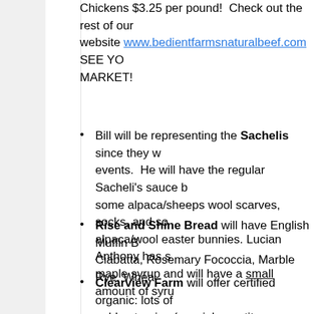Chickens $3.25 per pound!  Check out the rest of our website www.bedientfarmsnaturalbeef.com  SEE YOU AT THE MARKET!
Bill will be representing the Sachelis since they will be at other events.  He will have the regular Sacheli's sauce but also some alpaca/sheeps wool scarves, socks, and some adorable alpaca/wool easter bunnies. Lucian Anthony has started making maple syrup and will have a small amount of syrup available.
Rise and Shine Bread will have English Muffin Bread, Ciabatta, Rosemary Fococcia, Marble Rye, Wheat...
Clearview Farm will offer certified organic: lots of golden turnips (special quantity discounts,  too), e...